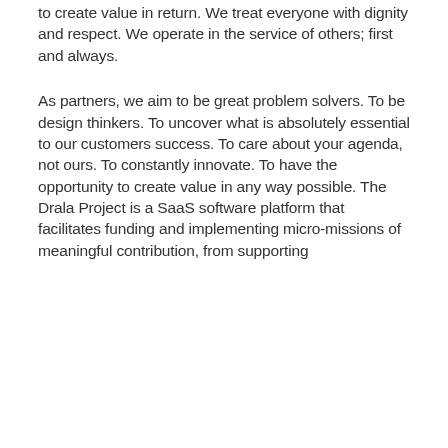to create value in return. We treat everyone with dignity and respect. We operate in the service of others; first and always.
As partners, we aim to be great problem solvers. To be design thinkers. To uncover what is absolutely essential to our customers success. To care about your agenda, not ours. To constantly innovate. To have the opportunity to create value in any way possible. The Drala Project is a SaaS software platform that facilitates funding and implementing micro-missions of meaningful contribution, from supporting